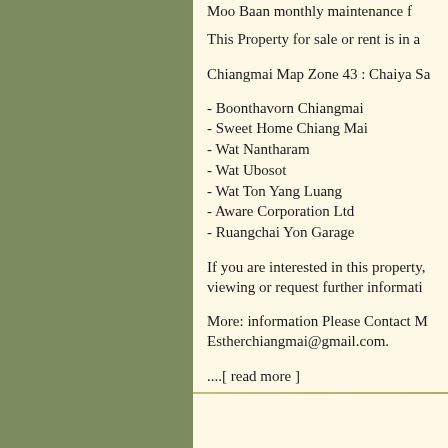Moo Baan monthly maintenance f...
This Property for sale or rent is in a...
Chiangmai Map Zone 43 : Chaiya Sa...
- Boonthavorn Chiangmai
- Sweet Home Chiang Mai
- Wat Nantharam
- Wat Ubosot
- Wat Ton Yang Luang
- Aware Corporation Ltd
- Ruangchai Yon Garage
If you are interested in this property, viewing or request further informatio...
More: information Please Contact M... Estherchiangmai@gmail.com.
....[ read more ]